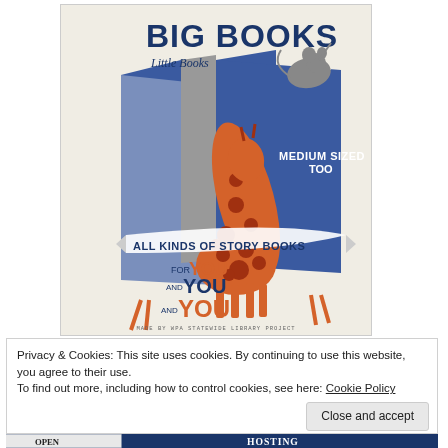[Figure (illustration): WPA-era library poster showing 'Big Books, Little Books, Medium Sized Too, All Kinds of Story Books for YOU and YOU and YOU' with illustrated giraffe, mouse, and books in blue, orange, and gray. Made by WPA Statewide Library Project.]
Privacy & Cookies: This site uses cookies. By continuing to use this website, you agree to their use.
To find out more, including how to control cookies, see here: Cookie Policy
[Figure (photo): Bottom strip showing partial images: left side shows 'OPEN' sign, right side shows 'HOSTING' text on dark blue background]